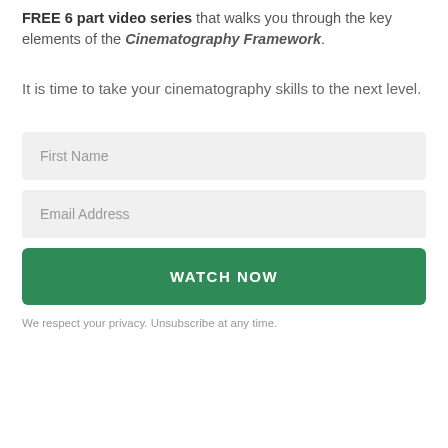FREE 6 part video series that walks you through the key elements of the Cinematography Framework.
It is time to take your cinematography skills to the next level.
First Name
Email Address
WATCH NOW
We respect your privacy. Unsubscribe at any time.